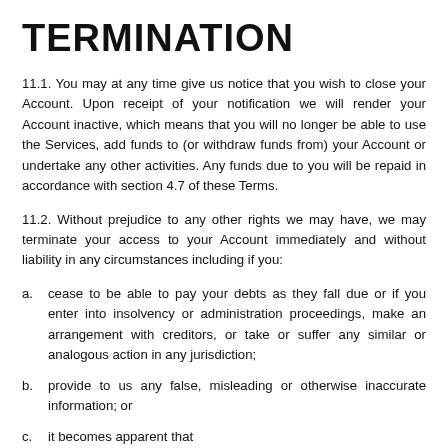TERMINATION
11.1. You may at any time give us notice that you wish to close your Account. Upon receipt of your notification we will render your Account inactive, which means that you will no longer be able to use the Services, add funds to (or withdraw funds from) your Account or undertake any other activities. Any funds due to you will be repaid in accordance with section 4.7 of these Terms.
11.2. Without prejudice to any other rights we may have, we may terminate your access to your Account immediately and without liability in any circumstances including if you:
cease to be able to pay your debts as they fall due or if you enter into insolvency or administration proceedings, make an arrangement with creditors, or take or suffer any similar or analogous action in any jurisdiction;
provide to us any false, misleading or otherwise inaccurate information; or
it becomes apparent that...